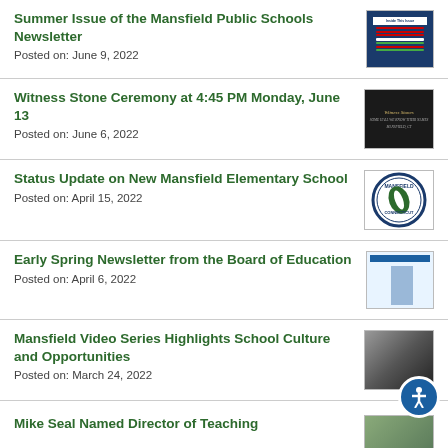Summer Issue of the Mansfield Public Schools Newsletter
Posted on: June 9, 2022
[Figure (screenshot): Thumbnail of Mansfield Public Schools Newsletter cover with blue header and colored text lines]
Witness Stone Ceremony at 4:45 PM Monday, June 13
Posted on: June 6, 2022
[Figure (photo): Dark image with Witness Stones text in gold italic script on dark background]
Status Update on New Mansfield Elementary School
Posted on: April 15, 2022
[Figure (logo): Mansfield Connecticut circular seal/logo in blue and green on white background]
Early Spring Newsletter from the Board of Education
Posted on: April 6, 2022
[Figure (screenshot): Thumbnail of Board of Education newsletter with blue header and columns]
Mansfield Video Series Highlights School Culture and Opportunities
Posted on: March 24, 2022
[Figure (photo): Photo of person in school classroom/hallway setting]
Mike Seal Named Director of Teaching